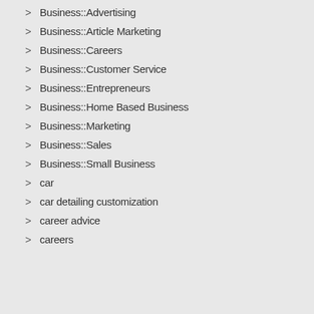Business::Advertising
Business::Article Marketing
Business::Careers
Business::Customer Service
Business::Entrepreneurs
Business::Home Based Business
Business::Marketing
Business::Sales
Business::Small Business
car
car detailing customization
career advice
careers